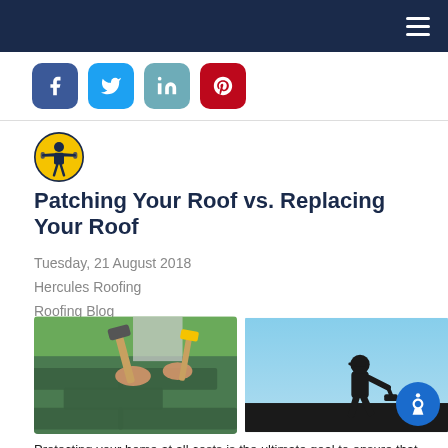Navigation bar with hamburger menu
[Figure (other): Social share buttons: Facebook, Twitter, LinkedIn, Pinterest]
[Figure (logo): Hercules Roofing logo - circular icon with strongman figure]
Patching Your Roof vs. Replacing Your Roof
Tuesday, 21 August 2018
Hercules Roofing
Roofing Blog
[Figure (photo): Hands nailing green shingles on a roof with a hammer]
[Figure (photo): Silhouette of a roofer working on a roof against a blue sky]
Protecting your home at all costs is the ultimate goal to ensure that you